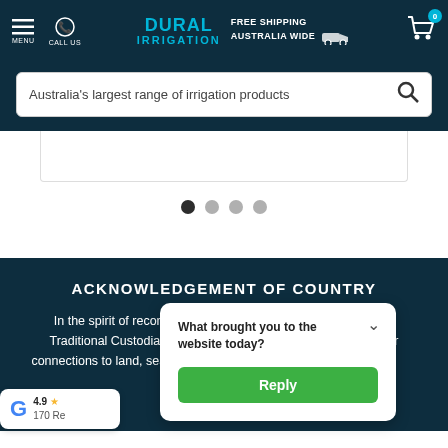[Figure (screenshot): Dural Irrigation website header with logo, free shipping badge, menu, call us icon, and cart with 0 badge]
Australia's largest range of irrigation products
[Figure (other): Slider pagination dots: 4 dots, first one dark/active, rest grey]
ACKNOWLEDGEMENT OF COUNTRY
In the spirit of reconciliation Dural Irrigation acknowledges the Traditional Custodians of country throughout Australia and their connections to land, sea and community. We pay our respects to their Elders past and present and that extend that … peoples
[Figure (other): Google rating widget showing 4.9 stars and 170 Reviews]
What brought you to the website today?
Reply